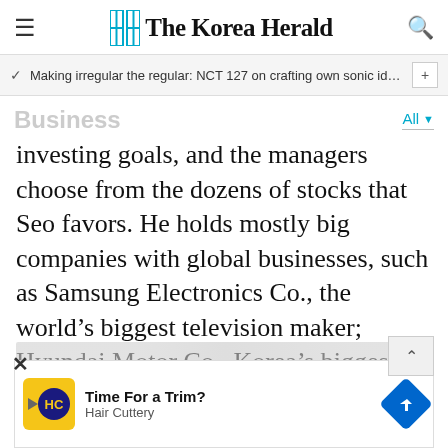The Korea Herald
Making irregular the regular: NCT 127 on crafting own sonic iden…
Business
investing goals, and the managers choose from the dozens of stocks that Seo favors. He holds mostly big companies with global businesses, such as Samsung Electronics Co., the world's biggest television maker; Hyundai Motor Co., Korea's biggest carmaker; and Hyundai Heavy Industries Co., the world's biggest shipbuilder.
[Figure (screenshot): Advertisement banner for Hair Cuttery with yellow logo box, play button, HC logo, 'Time For a Trim?' text and blue navigation icon]